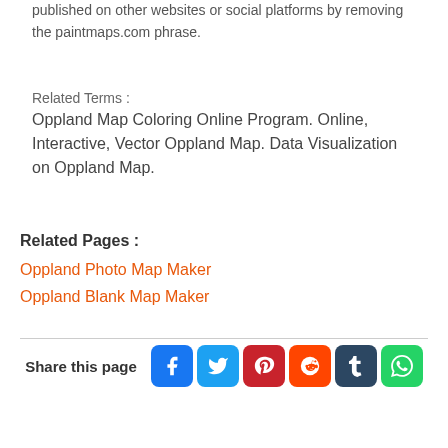published on other websites or social platforms by removing the paintmaps.com phrase.
Related Terms :
Oppland Map Coloring Online Program. Online, Interactive, Vector Oppland Map. Data Visualization on Oppland Map.
Related Pages :
Oppland Photo Map Maker
Oppland Blank Map Maker
Share this page